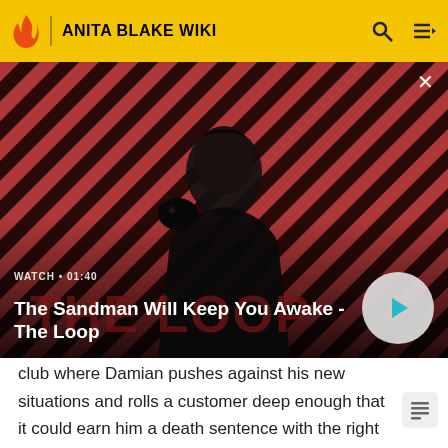ANITA BLAKE WIKI
[Figure (screenshot): Video thumbnail showing a dark figure (man in black coat with a raven on his shoulder) against a red and dark diagonal striped background. Text overlay reads 'WATCH • 01:40' and 'The Sandman Will Keep You Awake - The Loop' with a play button.]
club where Damian pushes against his new situations and rolls a customer deep enough that it could earn him a death sentence with the right judge. Anita contains the situation, but she's unhappy enough with Damian that after she accidentally calls his corpse from his coffin